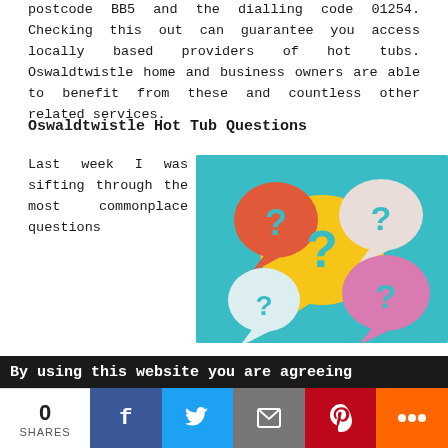postcode BB5 and the dialling code 01254. Checking this out can guarantee you access locally based providers of hot tubs. Oswaldtwistle home and business owners are able to benefit from these and countless other related services.
Oswaldtwistle Hot Tub Questions
Last week I was sifting through the most commonplace questions
[Figure (illustration): Colorful speech bubbles with question marks on a teal background]
householders in Oswaldtwistle ask in relation to hot tubs. A number of our visitors have posted some insightful enquiries that I considered to be worthy of mentioning here. The ones I picked were, "Will hot tub water kill grass?", "Which hot tub is the quietest?", "Is hot tub good
By using this website you are agreeing
0 SHARES | Facebook | Twitter | Email | Pinterest | More